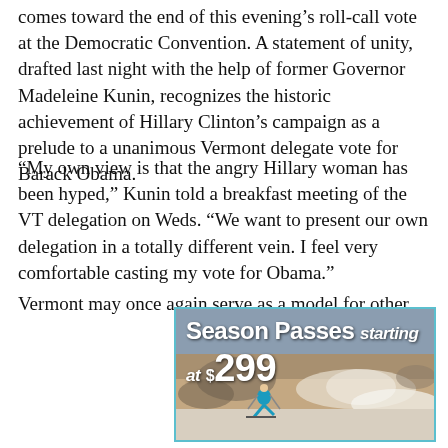comes toward the end of this evening's roll-call vote at the Democratic Convention. A statement of unity, drafted last night with the help of former Governor Madeleine Kunin, recognizes the historic achievement of Hillary Clinton's campaign as a prelude to a unanimous Vermont delegate vote for Barack Obama.
“My own view is that the angry Hillary woman has been hyped,” Kunin told a breakfast meeting of the VT delegation on Weds. “We want to present our own delegation in a totally different vein. I feel very comfortable casting my vote for Obama.”
Vermont may once again serve as a model for other
[Figure (illustration): Advertisement banner for Season Passes starting at $299, featuring a skier on a snowy slope with blue border]